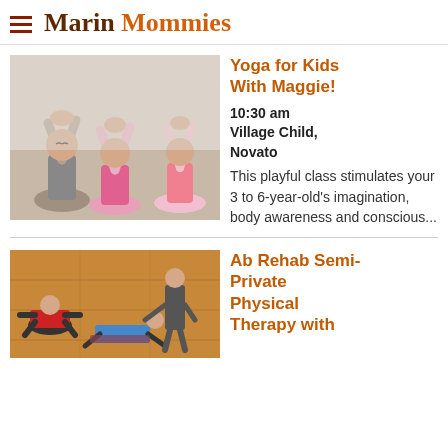Marin Mommies
[Figure (photo): Three children doing yoga with hands raised above heads in prayer pose, sitting cross-legged]
Yoga for Kids With Maggie!
10:30 am
Village Child, Novato
This playful class stimulates your 3 to 6-year-old's imagination, body awareness and conscious...
[Figure (photo): Adults doing ab rehab physical therapy exercises on a gym floor with an instructor assisting]
Ab Rehab Semi-Private Physical Therapy with